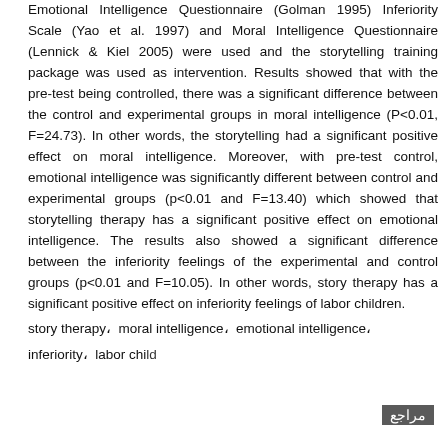Emotional Intelligence Questionnaire (Golman 1995) Inferiority Scale (Yao et al. 1997) and Moral Intelligence Questionnaire (Lennick & Kiel 2005) were used and the storytelling training package was used as intervention. Results showed that with the pre-test being controlled, there was a significant difference between the control and experimental groups in moral intelligence (P<0.01, F=24.73). In other words, the storytelling had a significant positive effect on moral intelligence. Moreover, with pre-test control, emotional intelligence was significantly different between control and experimental groups (p<0.01 and F=13.40) which showed that storytelling therapy has a significant positive effect on emotional intelligence. The results also showed a significant difference between the inferiority feelings of the experimental and control groups (p<0.01 and F=10.05). In other words, story therapy has a significant positive effect on inferiority feelings of labor children.
story therapy، moral intelligence، emotional intelligence، inferiority، labor children